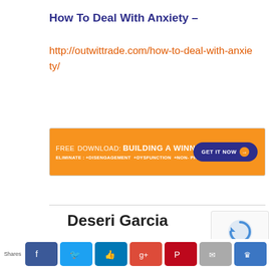How To Deal With Anxiety –
http://outwittrade.com/how-to-deal-with-anxiety/
[Figure (other): Banner advertisement: orange background with text FREE DOWNLOAD: BUILDING A WINNING TEAM, ELIMINATE: +DISENGAGEMENT +DYSFUNCTION +NON-PRODUCTIVE BEHAVIORS, with a dark blue GET IT NOW button with arrow]
Deseri Garcia
[Figure (other): reCAPTCHA badge]
Shares
[Figure (other): Social share bar with Facebook, Twitter, Like, Google+, Pinterest, Email, and bookmark buttons]